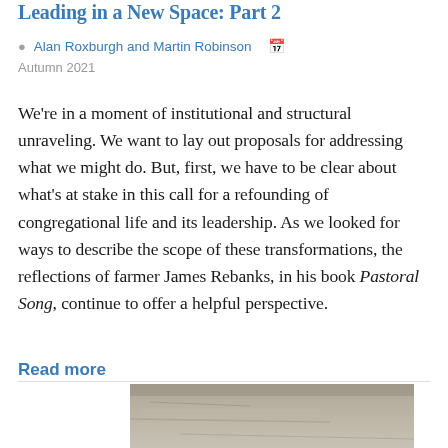Leading in a New Space: Part 2
Alan Roxburgh and Martin Robinson  Autumn 2021
We're in a moment of institutional and structural unraveling. We want to lay out proposals for addressing what we might do. But, first, we have to be clear about what's at stake in this call for a refounding of congregational life and its leadership. As we looked for ways to describe the scope of these transformations, the reflections of farmer James Rebanks, in his book Pastoral Song, continue to offer a helpful perspective.
Read more
[Figure (photo): Partial view of a stone or textured surface photograph at the bottom of the page]